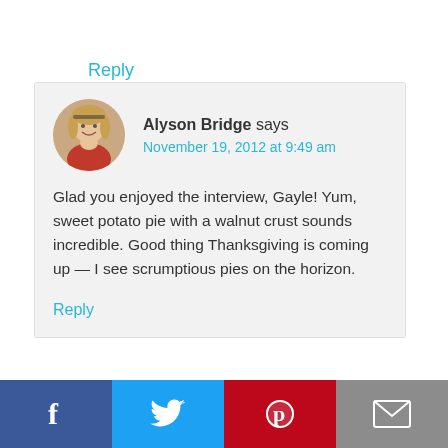Reply
[Figure (photo): Circular avatar photo of Alyson Bridge, a woman with blonde hair smiling, holding what appears to be a cooking utensil, wearing a red outfit.]
Alyson Bridge says
November 19, 2012 at 9:49 am
Glad you enjoyed the interview, Gayle! Yum, sweet potato pie with a walnut crust sounds incredible. Good thing Thanksgiving is coming up — I see scrumptious pies on the horizon.
Reply
[Figure (infographic): Social sharing bar with four buttons: Facebook (dark blue, f icon), Twitter (light blue, bird icon), Pinterest (red, p icon), Email (grey, envelope icon).]